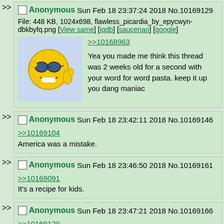>> Anonymous Sun Feb 18 23:37:24 2018 No.10169129
File: 448 KB, 1024x698, flawless_picardia_by_epycwyn-dbkbyfq.png [View same] [iqdb] [saucenao] [google]
>>10168963
Yea you made me think this thread was 2 weeks old for a second with your word for word pasta. keep it up you dang maniac
>> Anonymous Sun Feb 18 23:42:11 2018 No.10169146
>>10169104
America was a mistake.
>> Anonymous Sun Feb 18 23:46:50 2018 No.10169161
>>10169091
It's a recipe for kids.
>> Anonymous Sun Feb 18 23:47:21 2018 No.10169166
>>10169129
He's been doing it for months